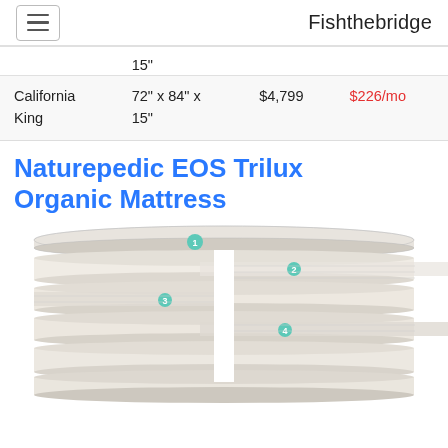Fishthebridge
|  | 72" x 84" x | $4,799 | $226/mo |
|  | 15" |  |  |
| California King | 72" x 84" x
15" | $4,799 | $226/mo |
Naturepedic EOS Trilux Organic Mattress
[Figure (illustration): Exploded/cross-section diagram of the Naturepedic EOS Trilux Organic Mattress showing 5 labeled layers numbered 1 through 5 from top to bottom, with the mattress split in the middle to show individual layers.]